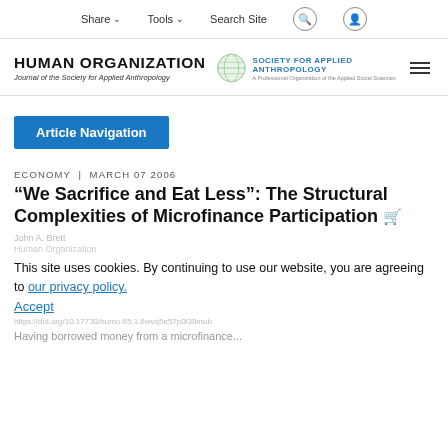Share   Tools   Search Site
[Figure (logo): Human Organization journal logo and Society for Applied Anthropology logo]
Article Navigation
ECONOMY | MARCH 07 2006
“We Sacrifice and Eat Less”: The Structural Complexities of Microfinance Participation
John A. Brett
This site uses cookies. By continuing to use our website, you are agreeing to our privacy policy.
Accept
Human Organization
http://doi.org/10.17730/humo.65.1.6wvq5e57p0l38mub
Having borrowed money from a microfinance...